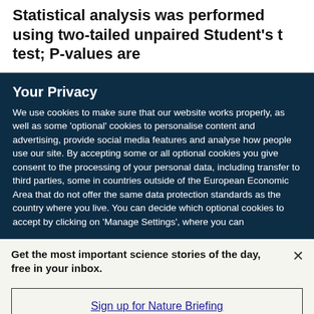Statistical analysis was performed using two-tailed unpaired Student's t test; P-values are
Your Privacy
We use cookies to make sure that our website works properly, as well as some 'optional' cookies to personalise content and advertising, provide social media features and analyse how people use our site. By accepting some or all optional cookies you give consent to the processing of your personal data, including transfer to third parties, some in countries outside of the European Economic Area that do not offer the same data protection standards as the country where you live. You can decide which optional cookies to accept by clicking on 'Manage Settings', where you can
Get the most important science stories of the day, free in your inbox.
Sign up for Nature Briefing